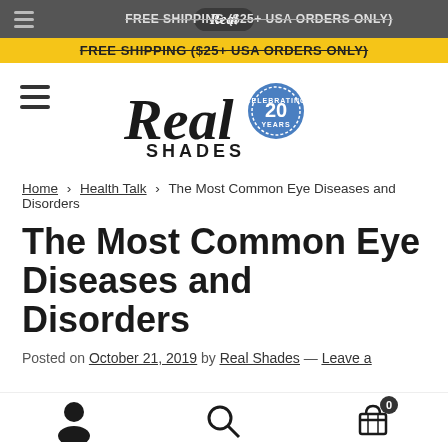Real Shades — FREE SHIPPING ($25+ USA ORDERS ONLY)
[Figure (logo): Real Shades logo with '20 Years Celebrating' badge, hamburger menu icon]
Home › Health Talk › The Most Common Eye Diseases and Disorders
The Most Common Eye Diseases and Disorders
Posted on October 21, 2019 by Real Shades — Leave a
User icon, Search icon, Cart (0)